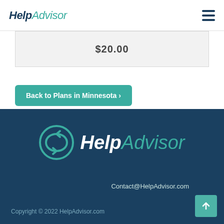HelpAdvisor
| $20.00 |
Back to Plans in Minnesota ›
[Figure (logo): HelpAdvisor footer logo with teal circular arrow icon]
Contact@HelpAdvisor.com
Copyright © 2022 HelpAdvisor.com